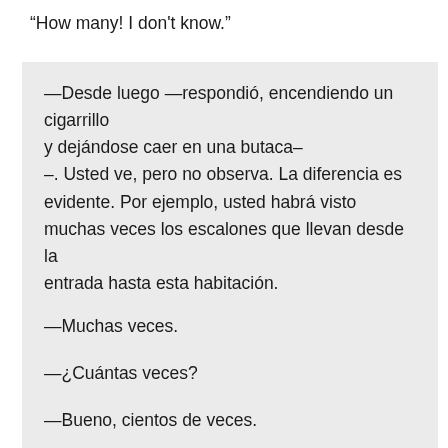“How many! I don't know.”
—Desde luego —respondió, encendiendo un cigarrillo y dejándose caer en una butaca–
–. Usted ve, pero no observa. La diferencia es evidente. Por ejemplo, usted habrá visto muchas veces los escalones que llevan desde la entrada hasta esta habitación.
—Muchas veces.
—¿Cuántas veces?
—Bueno, cientos de veces.